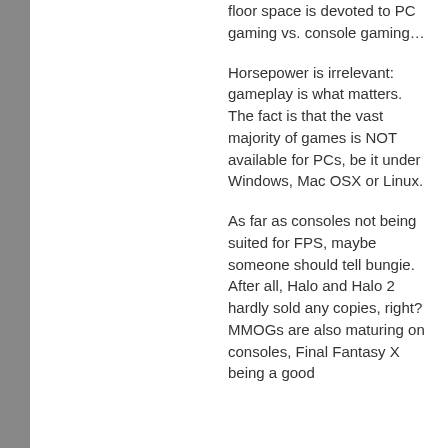floor space is devoted to PC gaming vs. console gaming…
Horsepower is irrelevant: gameplay is what matters. The fact is that the vast majority of games is NOT available for PCs, be it under Windows, Mac OSX or Linux.
As far as consoles not being suited for FPS, maybe someone should tell bungie. After all, Halo and Halo 2 hardly sold any copies, right? MMOGs are also maturing on consoles, Final Fantasy X being a good